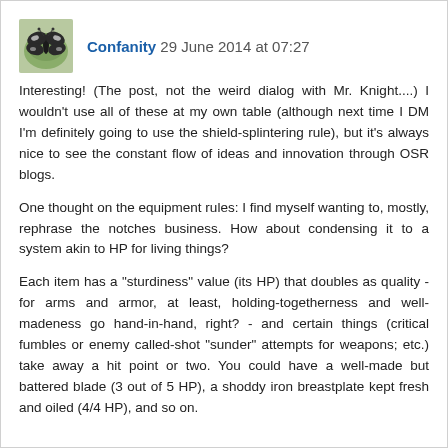[Figure (photo): Small square avatar image of a butterfly or moth on a leaf, dark coloring with white markings]
Confanity 29 June 2014 at 07:27
Interesting! (The post, not the weird dialog with Mr. Knight....) I wouldn't use all of these at my own table (although next time I DM I'm definitely going to use the shield-splintering rule), but it's always nice to see the constant flow of ideas and innovation through OSR blogs.
One thought on the equipment rules: I find myself wanting to, mostly, rephrase the notches business. How about condensing it to a system akin to HP for living things?
Each item has a "sturdiness" value (its HP) that doubles as quality - for arms and armor, at least, holding-togetherness and well-madeness go hand-in-hand, right? - and certain things (critical fumbles or enemy called-shot "sunder" attempts for weapons; etc.) take away a hit point or two. You could have a well-made but battered blade (3 out of 5 HP), a shoddy iron breastplate kept fresh and oiled (4/4 HP), and so on.